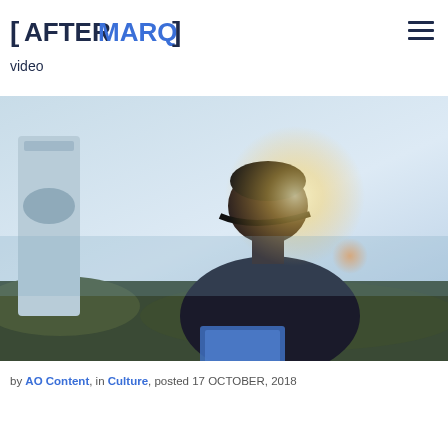AFTERMARQ [logo] navigation hamburger menu
video
[Figure (photo): A man wearing a dark hoodie and a cap, looking downward, standing outdoors near a lighthouse or industrial structure. The scene is lit with warm golden backlight, possibly at sunset, near a coastal rocky area. He is holding what appears to be a blue document or folder.]
by AO Content in Culture posted 17 OCTOBER, 2018